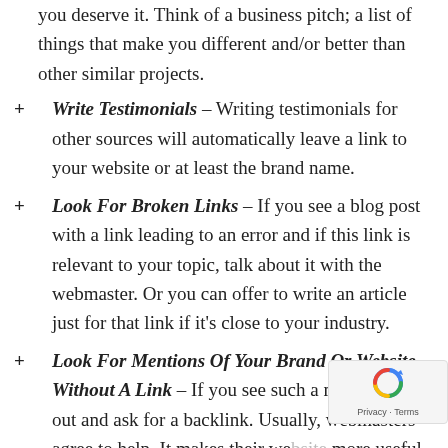you deserve it. Think of a business pitch; a list of things that make you different and/or better than other similar projects.
Write Testimonials – Writing testimonials for other sources will automatically leave a link to your website or at least the brand name.
Look For Broken Links – If you see a blog post with a link leading to an error and if this link is relevant to your topic, talk about it with the webmaster. Or you can offer to write an article just for that link if it's close to your industry.
Look For Mentions Of Your Brand Or Website Without A Link – If you see such a mention, reach out and ask for a backlink. Usually, webmasters agree to help. It makes their website more useful as well.
Leave Comments – If you see an article rele...